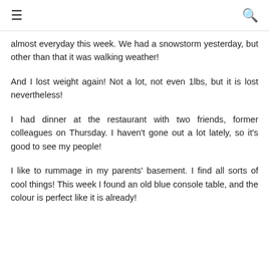≡  🔍
almost everyday this week. We had a snowstorm yesterday, but other than that it was walking weather!
And I lost weight again! Not a lot, not even 1lbs, but it is lost nevertheless!
I had dinner at the restaurant with two friends, former colleagues on Thursday. I haven't gone out a lot lately, so it's good to see my people!
I like to rummage in my parents' basement. I find all sorts of cool things! This week I found an old blue console table, and the colour is perfect like it is already!